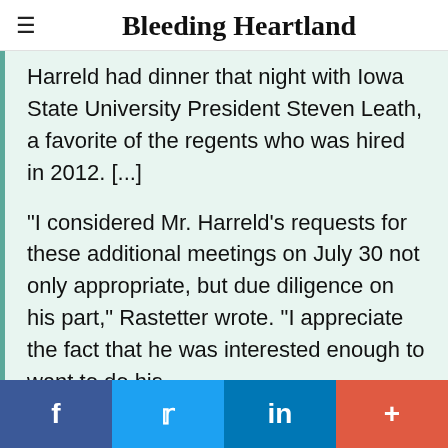Bleeding Heartland
Harreld had dinner that night with Iowa State University President Steven Leath, a favorite of the regents who was hired in 2012. [...]
"I considered Mr. Harreld's requests for these additional meetings on July 30 not only appropriate, but due diligence on his part," Rastetter wrote. "I appreciate the fact that he was interested enough to want to do his
f   in   +